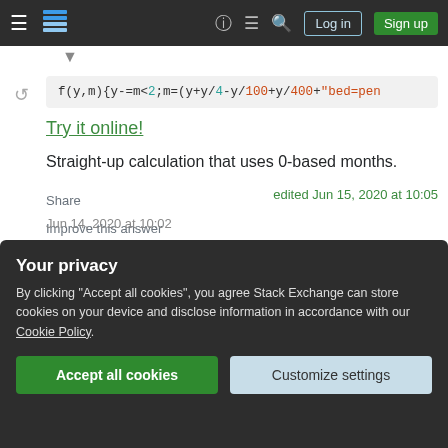Stack Exchange navigation bar with hamburger menu, logo, help, chat, search, Log in, Sign up
[Figure (screenshot): Code snippet showing: f(y,m){y-=m<2;m=(y+y/4-y/100+y/400+"bed=pen with syntax highlighting (numbers in teal, division/strings in orange)]
Try it online!
Straight-up calculation that uses 0-based months.
Share
Improve this answer
Follow
edited Jun 15, 2020 at 10:05
Your privacy
By clicking "Accept all cookies", you agree Stack Exchange can store cookies on your device and disclose information in accordance with our Cookie Policy.
Accept all cookies   Customize settings